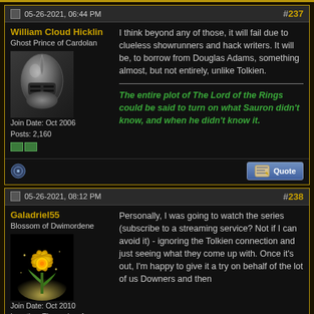05-26-2021, 06:44 PM #237
William Cloud Hicklin
Ghost Prince of Cardolan
Join Date: Oct 2006
Posts: 2,160
I think beyond any of those, it will fail due to clueless showrunners and hack writers. It will be, to borrow from Douglas Adams, something almost, but not entirely, unlike Tolkien.

The entire plot of The Lord of the Rings could be said to turn on what Sauron didn't know, and when he didn't know it.
05-26-2021, 08:12 PM #238
Galadriel55
Blossom of Dwimordene
Join Date: Oct 2010
Location: The realm of forgotten
Personally, I was going to watch the series (subscribe to a streaming service? Not if I can avoid it) - ignoring the Tolkien connection and just seeing what they come up with. Once it's out, I'm happy to give it a try on behalf of the lot of us Downers and then